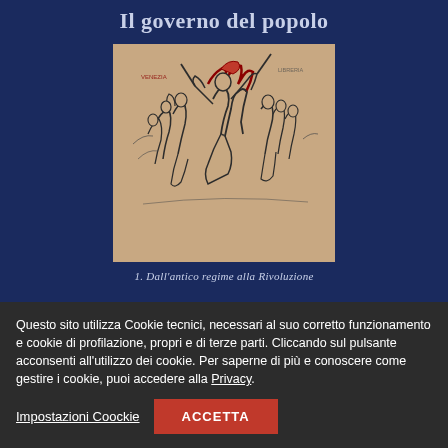Il governo del popolo
[Figure (illustration): Black and white illustration with some red color accents showing revolutionary figures with weapons and flags, in an expressive sketch style on a beige/tan background.]
1. Dall'antico regime alla Rivoluzione
Questo sito utilizza Cookie tecnici, necessari al suo corretto funzionamento e cookie di profilazione, propri e di terze parti. Cliccando sul pulsante acconsenti all'utilizzo dei cookie. Per saperne di più e conoscere come gestire i cookie, puoi accedere alla Privacy.
Impostazioni Coockie
ACCETTA